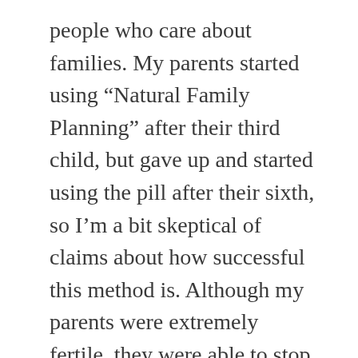people who care about families. My parents started using “Natural Family Planning” after their third child, but gave up and started using the pill after their sixth, so I’m a bit skeptical of claims about how successful this method is. Although my parents were extremely fertile, they were able to stop having babies after my mother went on the pill, which probably saved the mental health of both of them. They were at their wits’ end, especially as my mother had to deal with increasingly bad post-partum depression with each baby. I imagine, Kamilla, that you are one of those